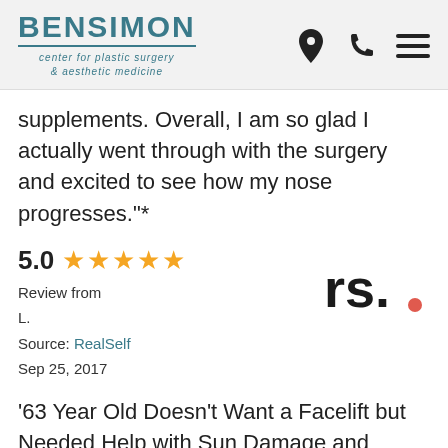BENSIMON center for plastic surgery & aesthetic medicine
supplements. Overall, I am so glad I actually went through with the surgery and excited to see how my nose progresses."*
5.0 ★★★★★
Review from
L.
Source: RealSelf
Sep 25, 2017
'63 Year Old Doesn't Want a Facelift but Needed Help with Sun Damage and Aging - Portland, OR - Not sure who was staring back at me in the mirror but I decided I needed to do something about all my sun damage and